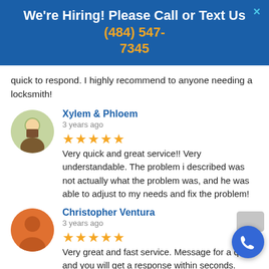We're Hiring! Please Call or Text Us (484) 547-7345
quick to respond. I highly recommend to anyone needing a locksmith!
Xylem & Phloem
3 years ago
★★★★★  Very quick and great service!! Very understandable. The problem i described was not actually what the problem was, and he was able to adjust to my needs and fix the problem!
Christopher Ventura
3 years ago
★★★★★  Very great and fast service. Message for a quote and you will get a response within seconds. Whatever you need he can help you out with. Great prices too!!!
Yeyson Disla
3 years ago
★★★★★  Fast service, reliable and affordable